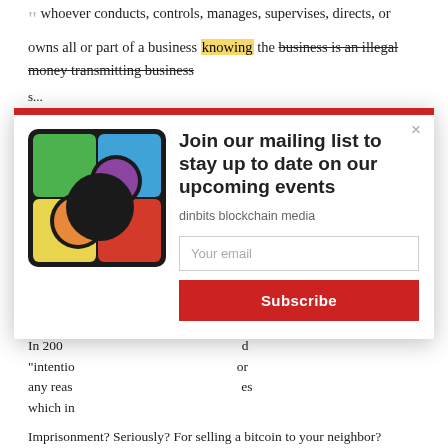whoever conducts, controls, manages, supervises, directs, or owns all or part of a business knowing the business is an illegal money transmitting business shall be imprisoned…
And in th…
[T… a… w… m…
In 200… "intentio… any reas… which in…
Imprisonment? Seriously? For selling a bitcoin to your neighbor?
[Figure (screenshot): Modal popup overlay from dinbits blockchain media asking user to join mailing list, with colorful logo on left and subscription form on right with Subscribe button.]